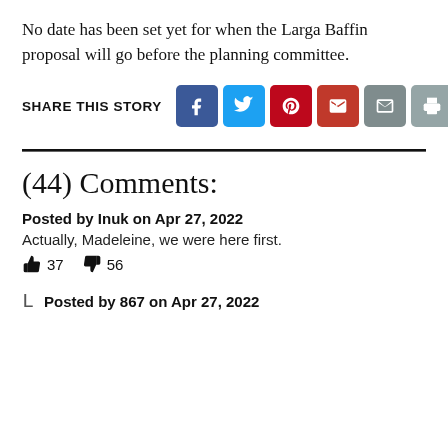No date has been set yet for when the Larga Baffin proposal will go before the planning committee.
SHARE THIS STORY [social share icons: Facebook, Twitter, Pinterest, Gmail, Email, Print]
(44) Comments:
Posted by Inuk on Apr 27, 2022
Actually, Madeleine, we were here first.
👍 37  👎 56
Posted by 867 on Apr 27, 2022